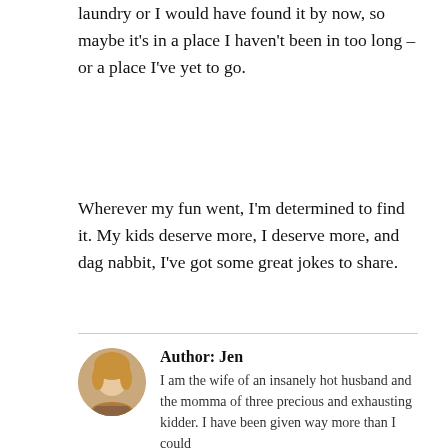laundry or I would have found it by now, so maybe it’s in a place I haven’t been in too long – or a place I’ve yet to go.
Wherever my fun went, I’m determined to find it. My kids deserve more, I deserve more, and dag nabbit, I’ve got some great jokes to share.
Author: Jen
I am the wife of an insanely hot husband and the momma of three precious and exhausting kidder. I have been given way more than I could